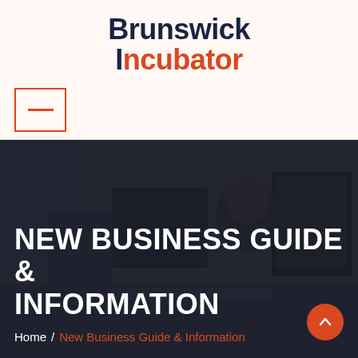Brunswick Incubator
[Figure (screenshot): Navigation menu icon box with red horizontal line, top-left corner of the page header area]
[Figure (photo): Dark hero image showing a person working at a computer, with a dark overlay, containing the page title 'NEW BUSINESS GUIDE & INFORMATION' and breadcrumb navigation showing Home / New Business Guide & Information, with an orange scroll-up button in the bottom right]
NEW BUSINESS GUIDE & INFORMATION
Home / New Business Guide & Information